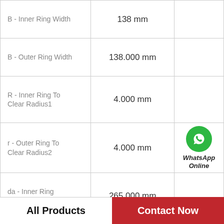| Parameter | Value |  |
| --- | --- | --- |
| B - Inner Ring Width | 138 mm |  |
| B - Outer Ring Width | 138.000 mm |  |
| R - Inner Ring To Clear Radius1 | 4.000 mm |  |
| r - Outer Ring To Clear Radius2 | 4.000 mm | WhatsApp Online |
| da - Inner Ring Backing Diameter | 265.000 mm |  |
| Da - Outer Ring Backing Diameter | 372.000 mm |  |
| C0 - Static Radial Rating | 3260000 N |  |
All Products   Contact Now